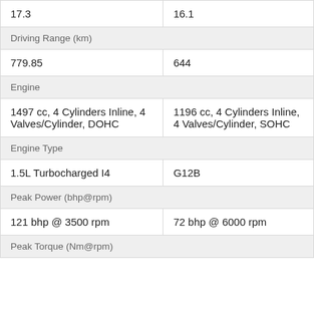| 17.3 | 16.1 |
| Driving Range (km) |  |
| 779.85 | 644 |
| Engine |  |
| 1497 cc, 4 Cylinders Inline, 4 Valves/Cylinder, DOHC | 1196 cc, 4 Cylinders Inline, 4 Valves/Cylinder, SOHC |
| Engine Type |  |
| 1.5L Turbocharged I4 | G12B |
| Peak Power (bhp@rpm) |  |
| 121 bhp @ 3500 rpm | 72 bhp @ 6000 rpm |
| Peak Torque (Nm@rpm) |  |